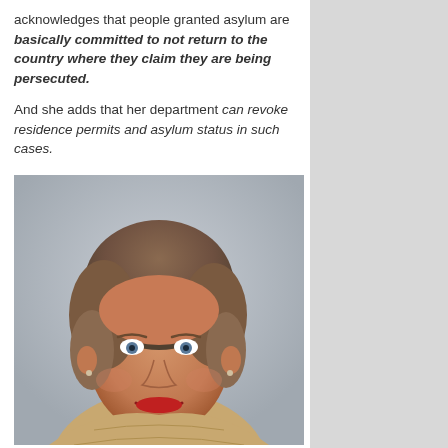acknowledges that people granted asylum are basically committed to not return to the country where they claim they are being persecuted.

And she adds that her department can revoke residence permits and asylum status in such cases.
[Figure (photo): Portrait photo of a middle-aged woman with short brown hair, blue eyes, wearing a beige/tan knit sweater, smiling at the camera against a light grey background.]